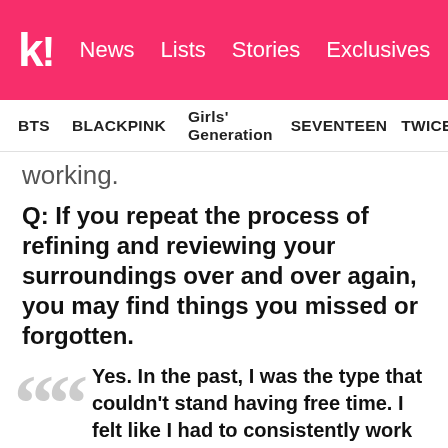k! News  Lists  Stories  Exclusives
BTS  BLACKPINK  Girls' Generation  SEVENTEEN  TWICE
working.
Q: If you repeat the process of refining and reviewing your surroundings over and over again, you may find things you missed or forgotten.
Yes. In the past, I was the type that couldn't stand having free time. I felt like I had to consistently work and I was anxious about even taking a break like this. But now, I realized that the break is time to prepare for my next work. It's not a time to stop, it's a